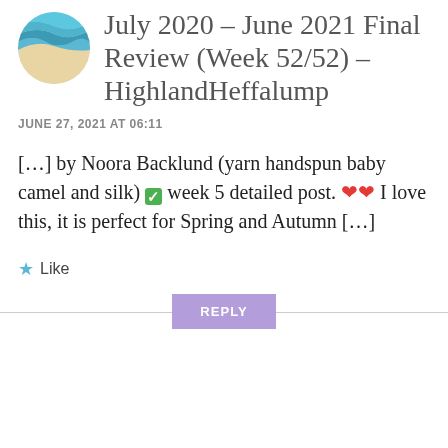[Figure (illustration): Circular avatar image showing an ocean/beach scene with teal water and sandy shore]
July 2020 – June 2021 Final Review (Week 52/52) – HighlandHeffalump
JUNE 27, 2021 AT 06:11
[…] by Noora Backlund (yarn handspun baby camel and silk) ✅ week 5 detailed post. ❤❤ I love this, it is perfect for Spring and Autumn […]
★ Like
REPLY